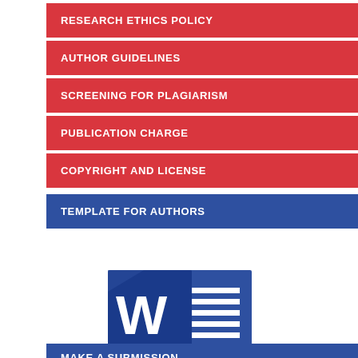RESEARCH ETHICS POLICY
AUTHOR GUIDELINES
SCREENING FOR PLAGIARISM
PUBLICATION CHARGE
COPYRIGHT AND LICENSE
TEMPLATE FOR AUTHORS
[Figure (logo): Microsoft Word document icon — blue W with document pages]
MAKE A SUBMISSION